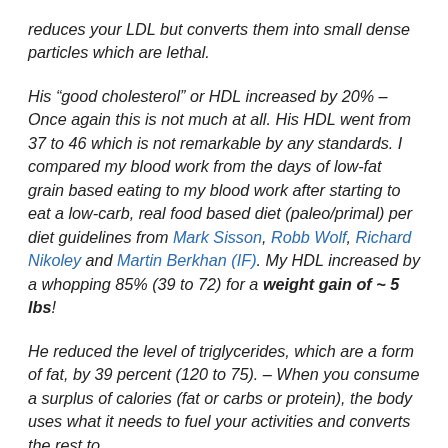reduces your LDL but converts them into small dense particles which are lethal.
His “good cholesterol” or HDL increased by 20% – Once again this is not much at all. His HDL went from 37 to 46 which is not remarkable by any standards. I compared my blood work from the days of low-fat grain based eating to my blood work after starting to eat a low-carb, real food based diet (paleo/primal) per diet guidelines from Mark Sisson, Robb Wolf, Richard Nikoley and Martin Berkhan (IF). My HDL increased by a whopping 85% (39 to 72) for a weight gain of ~ 5 lbs!
He reduced the level of triglycerides, which are a form of fat, by 39 percent (120 to 75). – When you consume a surplus of calories (fat or carbs or protein), the body uses what it needs to fuel your activities and converts the rest to